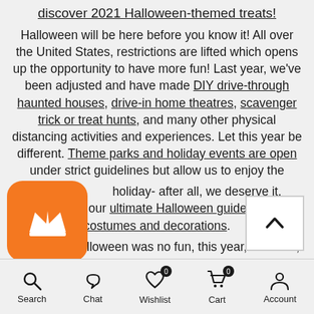discover 2021 Halloween-themed treats!
Halloween will be here before you know it! All over the United States, restrictions are lifted which opens up the opportunity to have more fun! Last year, we've been adjusted and have made DIY drive-through haunted houses, drive-in home theatres, scavenger trick or treat hunts, and many other physical distancing activities and experiences. Let this year be different. Theme parks and holiday events are open under strict guidelines but allow us to enjoy the holiday- after all, we deserve it.
[Figure (logo): Orange rounded square badge with white crown icon]
Check out our ultimate Halloween guide to DIY costumes and decorations.
Last year, Halloween was no fun, this year, however, have the opportunity to make up for lost time! Get into the
[Figure (other): Scroll-to-top button with upward chevron arrow]
Search  Chat  Wishlist  Cart  Account